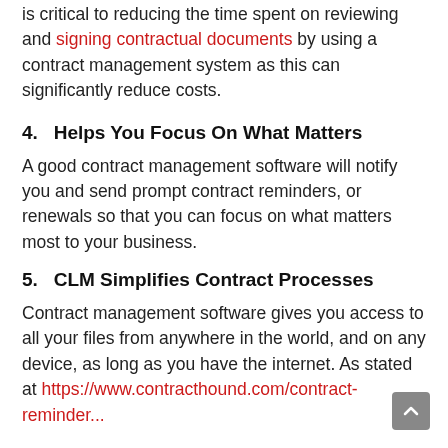is critical to reducing the time spent on reviewing and signing contractual documents by using a contract management system as this can significantly reduce costs.
4.   Helps You Focus On What Matters
A good contract management software will notify you and send prompt contract reminders, or renewals so that you can focus on what matters most to your business.
5.   CLM Simplifies Contract Processes
Contract management software gives you access to all your files from anywhere in the world, and on any device, as long as you have the internet. As stated at https://www.contracthound.com/contract-reminder...